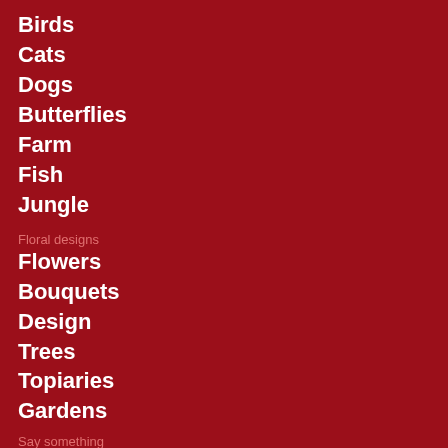Birds
Cats
Dogs
Butterflies
Farm
Fish
Jungle
Floral designs
Flowers
Bouquets
Design
Trees
Topiaries
Gardens
Say something